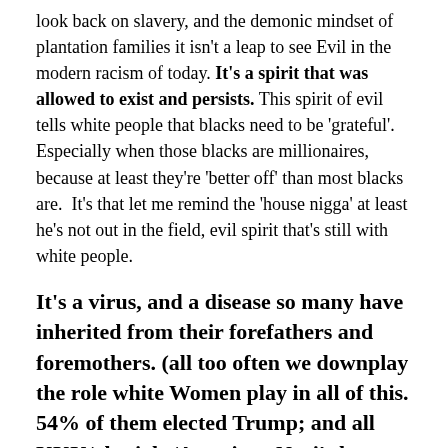look back on slavery, and the demonic mindset of plantation families it isn't a leap to see Evil in the modern racism of today. It's a spirit that was allowed to exist and persists. This spirit of evil tells white people that blacks need to be 'grateful'. Especially when those blacks are millionaires, because at least they're 'better off' than most blacks are.  It's that let me remind the 'house nigga' at least he's not out in the field, evil spirit that's still with white people.
It's a virus, and a disease so many have inherited from their forefathers and foremothers. (all too often we downplay the role white Women play in all of this. 54% of them elected Trump; and all KKK/alt-right/American Nazi's have a White woman by their side -)